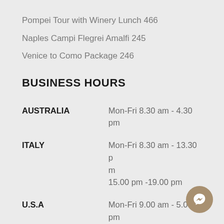Pompei Tour with Winery Lunch 466
Naples Campi Flegrei Amalfi 245
Venice to Como Package 246
BUSINESS HOURS
| Country | Hours |
| --- | --- |
| AUSTRALIA | Mon-Fri 8.30 am - 4.30 pm |
| ITALY | Mon-Fri 8.30 am - 13.30 pm
15.00 pm -19.00 pm |
| U.S.A | Mon-Fri 9.00 am - 5.00 pm |
[Figure (illustration): Messenger chat button icon in bottom right corner]